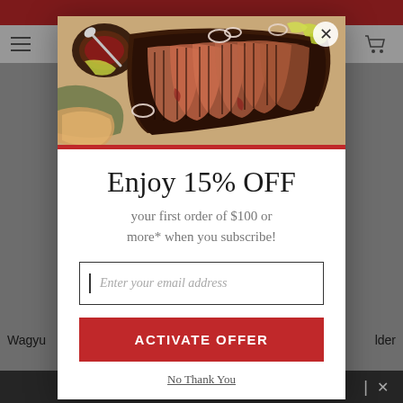[Figure (screenshot): Website background showing navigation bar and product listing page, dimmed behind modal overlay]
[Figure (photo): Photo of sliced smoked brisket on a cutting board with BBQ sauce, onions, pickled peppers]
Enjoy 15% OFF
your first order of $100 or more* when you subscribe!
Enter your email address
ACTIVATE OFFER
No Thank You